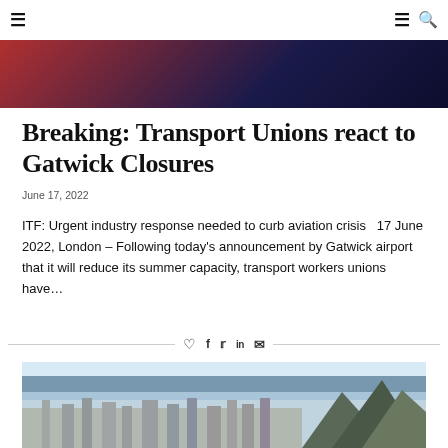Navigation bar with hamburger menu and search icon
[Figure (photo): Hero image with red and dark navy/blue gradient background, partial photograph]
Breaking: Transport Unions react to Gatwick Closures
June 17, 2022
ITF: Urgent industry response needed to curb aviation crisis   17 June 2022, London – Following today's announcement by Gatwick airport that it will reduce its summer capacity, transport workers unions have…
[Figure (infographic): Social share bar with heart, Facebook, Twitter, LinkedIn, and email icons between horizontal divider lines]
[Figure (photo): Bottom photograph showing a coastal town with mountains and sea in the background]